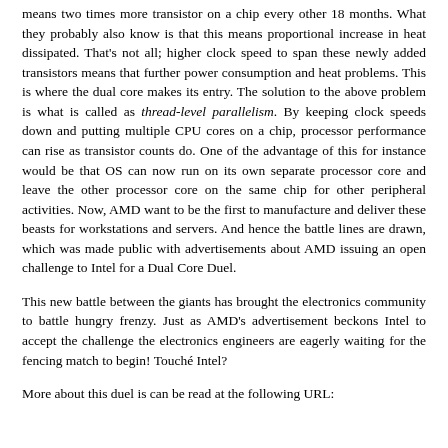means two times more transistor on a chip every other 18 months. What they probably also know is that this means proportional increase in heat dissipated. That's not all; higher clock speed to span these newly added transistors means that further power consumption and heat problems. This is where the dual core makes its entry. The solution to the above problem is what is called as thread-level parallelism. By keeping clock speeds down and putting multiple CPU cores on a chip, processor performance can rise as transistor counts do. One of the advantage of this for instance would be that OS can now run on its own separate processor core and leave the other processor core on the same chip for other peripheral activities. Now, AMD want to be the first to manufacture and deliver these beasts for workstations and servers. And hence the battle lines are drawn, which was made public with advertisements about AMD issuing an open challenge to Intel for a Dual Core Duel.
This new battle between the giants has brought the electronics community to battle hungry frenzy. Just as AMD's advertisement beckons Intel to accept the challenge the electronics engineers are eagerly waiting for the fencing match to begin! Touché Intel?
More about this duel is can be read at the following URL: